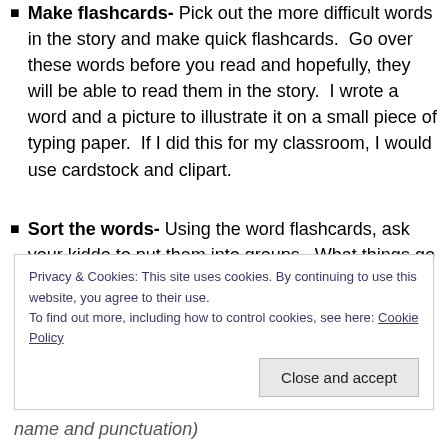Make flashcards- Pick out the more difficult words in the story and make quick flashcards. Go over these words before you read and hopefully, they will be able to read them in the story. I wrote a word and a picture to illustrate it on a small piece of typing paper. If I did this for my classroom, I would use cardstock and clipart.
Sort the words- Using the word flashcards, ask your kiddo to put them into groups. What things go together? Maybe there is a group of animals, sports, or people. You'll be surprised at kids' creativity.
Privacy & Cookies: This site uses cookies. By continuing to use this website, you agree to their use. To find out more, including how to control cookies, see here: Cookie Policy
Close and accept
name and punctuation)